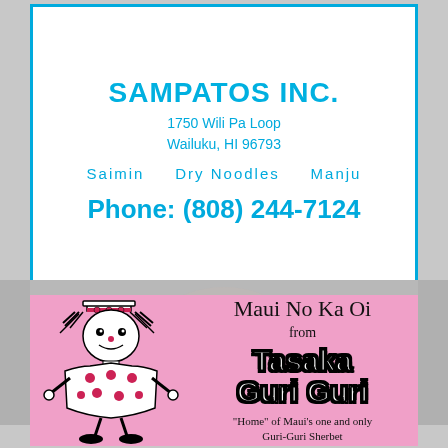[Figure (other): Advertisement for Sampatos Inc. with blue border. Address: 1750 Wili Pa Loop, Wailuku, HI 96793. Services: Saimin, Dry Noodles, Manju. Phone: (808) 244-7124.]
[Figure (photo): Faded background photo of a person's face (elderly man), visible in the middle section of the page.]
[Figure (illustration): Pink advertisement for Tasaka Guri Guri featuring a clown illustration on the left side and text: Maui No Ka Oi from Tasaka Guri Guri - Home of Maui's one and only Guri-Guri Sherbet.]